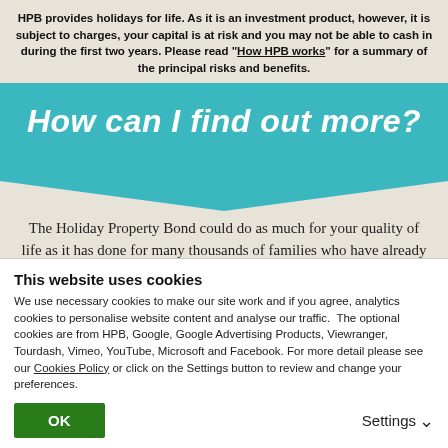HPB provides holidays for life. As it is an investment product, however, it is subject to charges, your capital is at risk and you may not be able to cash in during the first two years. Please read "How HPB works" for a summary of the principal risks and benefits.
How can I find out more?
The Holiday Property Bond could do as much for your quality of life as it has done for many thousands of families who have already invested. That's why we invite you to get
This website uses cookies
We use necessary cookies to make our site work and if you agree, analytics cookies to personalise website content and analyse our traffic. The optional cookies are from HPB, Google, Google Advertising Products, Viewranger, Tourdash, Vimeo, YouTube, Microsoft and Facebook. For more detail please see our Cookies Policy or click on the Settings button to review and change your preferences.
OK
Settings